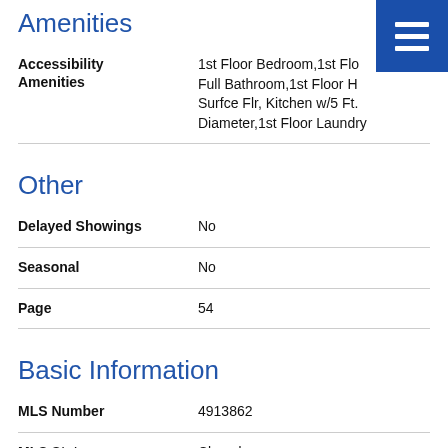Amenities
| Field | Value |
| --- | --- |
| Accessibility Amenities | 1st Floor Bedroom,1st Flo Full Bathroom,1st Floor H Surfce Flr, Kitchen w/5 Ft. Diameter,1st Floor Laundry |
Other
| Field | Value |
| --- | --- |
| Delayed Showings | No |
| Seasonal | No |
| Page | 54 |
Basic Information
| Field | Value |
| --- | --- |
| MLS Number | 4913862 |
| MLS Status | Closed |